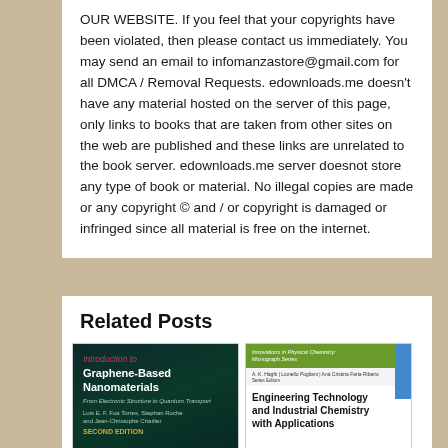OUR WEBSITE. If you feel that your copyrights have been violated, then please contact us immediately. You may send an email to infomanzastore@gmail.com for all DMCA / Removal Requests. edownloads.me doesn't have any material hosted on the server of this page, only links to books that are taken from other sites on the web are published and these links are unrelated to the book server. edownloads.me server doesnot store any type of book or material. No illegal copies are made or any copyright © and / or copyright is damaged or infringed since all material is free on the internet.
Related Posts
[Figure (photo): Book cover: Introduction to Graphene-Based Nanomaterials - From Electronic Structure to Quantum Transport, by Luis E. F. Foa Torres, Stephan Roche and Jean-Christophe Charlier, Second Edition. Dark green/teal background.]
[Figure (photo): Book cover: Engineering Technology and Industrial Chemistry with Applications, from the Innovations in Physical Chemistry: Monograph Series, edited by A. K. Haghi, Lionello Pogliani, Ana Cristina Faria Ribeiro. White background with green header bar and blue accent.]